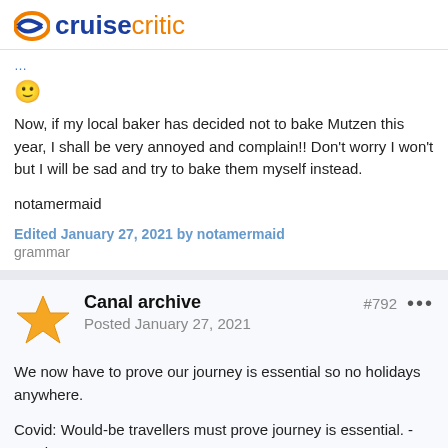Cruise Critic
[truncated link text above]
🙂
Now, if my local baker has decided not to bake Mutzen this year, I shall be very annoyed and complain!! Don't worry I won't but I will be sad and try to bake them myself instead.
notamermaid
Edited January 27, 2021 by notamermaid
grammar
Canal archive
Posted January 27, 2021
#792
We now have to prove our journey is essential so no holidays anywhere.
Covid: Would-be travellers must prove journey is essential. - Patel